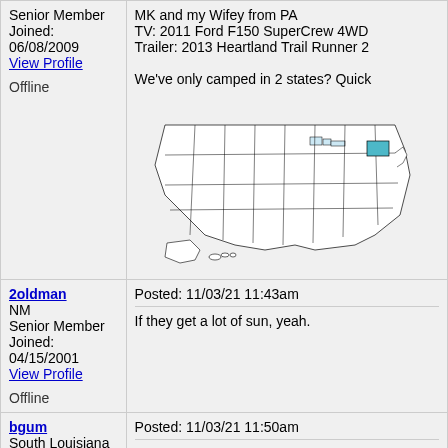Senior Member
Joined: 06/08/2009
View Profile
Offline
MK and my Wifey from PA
TV: 2011 Ford F150 SuperCrew 4WD
Trailer: 2013 Heartland Trail Runner 2
We've only camped in 2 states? Quick
[Figure (map): US map with Pennsylvania highlighted in teal/blue]
2oldman
NM
Senior Member
Joined: 04/15/2001
View Profile
Offline
Posted: 11/03/21 11:43am
If they get a lot of sun, yeah.
bgum
South Louisiana
Senior Member
Joined: 02/22/2006
Posted: 11/03/21 11:50am
Yes